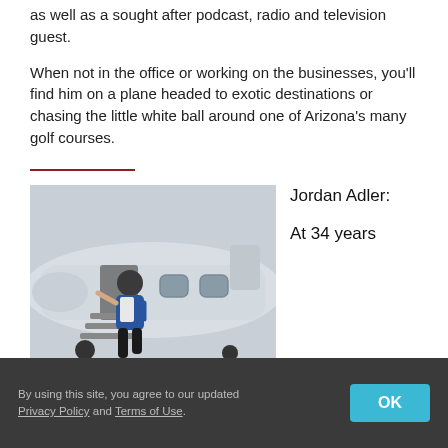as well as a sought after podcast, radio and television guest.
When not in the office or working on the businesses, you'll find him on a plane headed to exotic destinations or chasing the little white ball around one of Arizona's many golf courses.
[Figure (photo): Man in blue blazer waving from the stairs of a private jet]
Jordan Adler:

At 34 years
By using this site, you agree to our updated Privacy Policy and Terms of Use. [OK button]